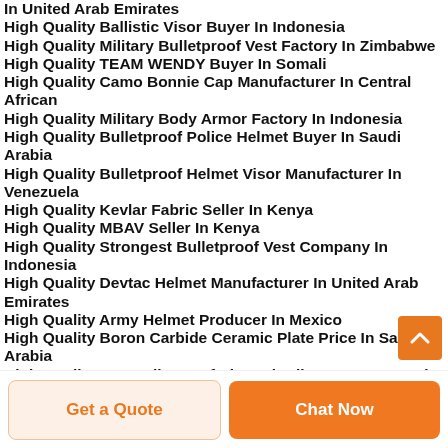In United Arab Emirates
High Quality Ballistic Visor Buyer In Indonesia
High Quality Military Bulletproof Vest Factory In Zimbabwe
High Quality TEAM WENDY Buyer In Somali
High Quality Camo Bonnie Cap Manufacturer In Central African
High Quality Military Body Armor Factory In Indonesia
High Quality Bulletproof Police Helmet Buyer In Saudi Arabia
High Quality Bulletproof Helmet Visor Manufacturer In Venezuela
High Quality Kevlar Fabric Seller In Kenya
High Quality MBAV Seller In Kenya
High Quality Strongest Bulletproof Vest Company In Indonesia
High Quality Devtac Helmet Manufacturer In United Arab Emirates
High Quality Army Helmet Producer In Mexico
High Quality Boron Carbide Ceramic Plate Price In Saudi Arabia
High Quality B4c Bulletproof Plate Distributor In Venezuela
High Quality Flak Jacket Producer In Qatar